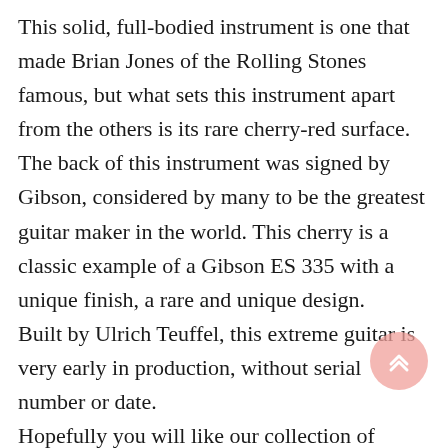This solid, full-bodied instrument is one that made Brian Jones of the Rolling Stones famous, but what sets this instrument apart from the others is its rare cherry-red surface. The back of this instrument was signed by Gibson, considered by many to be the greatest guitar maker in the world. This cherry is a classic example of a Gibson ES 335 with a unique finish, a rare and unique design. Built by Ulrich Teuffel, this extreme guitar is very early in production, without serial number or date. Hopefully you will like our collection of classic guitars from some of the most experienced guitar makers and collectors in the world. We have a wide selection of wonderful guitars created by the hands of many of them, so don't hesitate to browse through our selection and contact us with any questions. You also have the opportunity to purchase our other classical